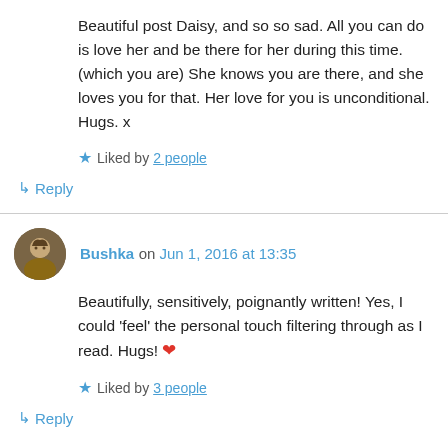Beautiful post Daisy, and so so sad. All you can do is love her and be there for her during this time. (which you are) She knows you are there, and she loves you for that. Her love for you is unconditional. Hugs. x
★ Liked by 2 people
↳ Reply
Bushka on Jun 1, 2016 at 13:35
Beautifully, sensitively, poignantly written! Yes, I could 'feel' the personal touch filtering through as I read. Hugs! ❤
★ Liked by 3 people
↳ Reply